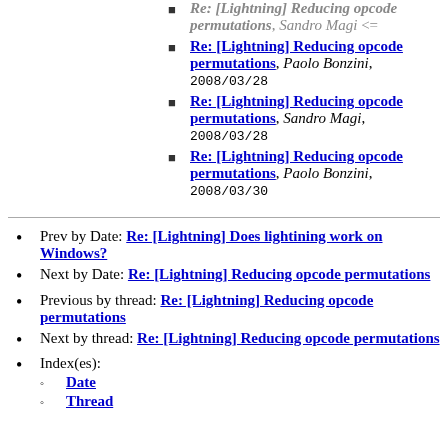Re: [Lightning] Reducing opcode permutations, Sandro Magi <=
Re: [Lightning] Reducing opcode permutations, Paolo Bonzini, 2008/03/28
Re: [Lightning] Reducing opcode permutations, Sandro Magi, 2008/03/28
Re: [Lightning] Reducing opcode permutations, Paolo Bonzini, 2008/03/30
Prev by Date: Re: [Lightning] Does lightining work on Windows?
Next by Date: Re: [Lightning] Reducing opcode permutations
Previous by thread: Re: [Lightning] Reducing opcode permutations
Next by thread: Re: [Lightning] Reducing opcode permutations
Index(es): Date, Thread